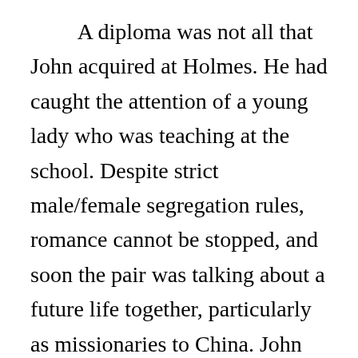A diploma was not all that John acquired at Holmes. He had caught the attention of a young lady who was teaching at the school. Despite strict male/female segregation rules, romance cannot be stopped, and soon the pair was talking about a future life together, particularly as missionaries to China. John mentioned to Edna that since they were both called to China they might as well go together. Edna thought that was a great idea! On June 21, 1949, they were wed in Garland, NC.